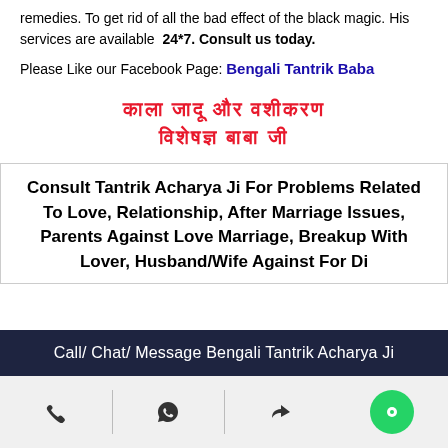remedies. To get rid of all the bad effect of the black magic. His services are available 24*7. Consult us today.
Please Like our Facebook Page: Bengali Tantrik Baba
काला जादू और वशीकरण विशेषज्ञ बाबा जी
Consult Tantrik Acharya Ji For Problems Related To Love, Relationship, After Marriage Issues, Parents Against Love Marriage, Breakup With Lover, Husband/Wife Against For Di...
Call/ Chat/ Message Bengali Tantrik Acharya Ji
[Figure (infographic): Icon bar with phone, WhatsApp, share, and chat icons on a light background]